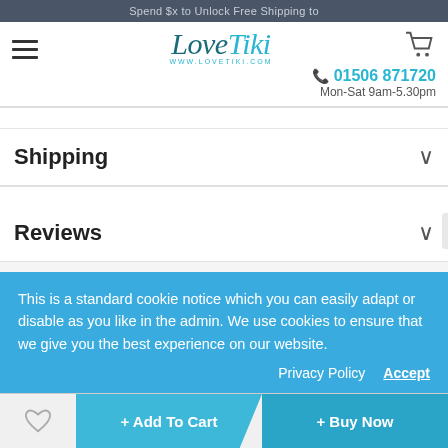Spend $x to Unlock Free Shipping to
[Figure (logo): LoveTiki logo with www.lovetiki.com text, hamburger menu and cart icon]
01506 871720
Mon-Sat 9am-5.30pm
Shipping
Reviews
This is a standard cookie notice which you can easily adapt or disable as you like in the admin. We use cookies to ensure that we give you the best experience on our website.
Privacy Policy
Accept
+ Add To Cart
+ Buy Now